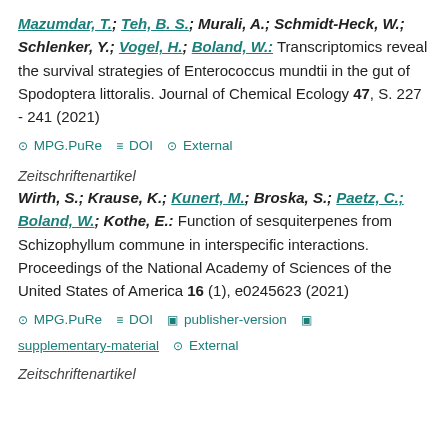Mazumdar, T.; Teh, B. S.; Murali, A.; Schmidt-Heck, W.; Schlenker, Y.; Vogel, H.; Boland, W.: Transcriptomics reveal the survival strategies of Enterococcus mundtii in the gut of Spodoptera littoralis. Journal of Chemical Ecology 47, S. 227 - 241 (2021)
MPG.PuRe  DOI  External
Zeitschriftenartikel
Wirth, S.; Krause, K.; Kunert, M.; Broska, S.; Paetz, C.; Boland, W.; Kothe, E.: Function of sesquiterpenes from Schizophyllum commune in interspecific interactions. Proceedings of the National Academy of Sciences of the United States of America 16 (1), e0245623 (2021)
MPG.PuRe  DOI  publisher-version  supplementary-material  External
Zeitschriftenartikel